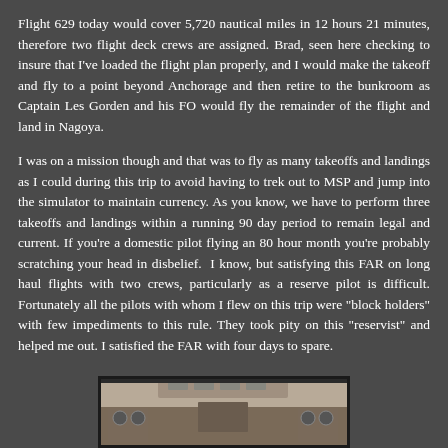Flight 629 today would cover 5,720 nautical miles in 12 hours 21 minutes, therefore two flight deck crews are assigned. Brad, seen here checking to insure that I've loaded the flight plan properly, and I would make the takeoff and fly to a point beyond Anchorage and then retire to the bunkroom as Captain Les Gorden and his FO would fly the remainder of the flight and land in Nagoya.
I was on a mission though and that was to fly as many takeoffs and landings as I could during this trip to avoid having to trek out to MSP and jump into the simulator to maintain currency. As you know, we have to perform three takeoffs and landings within a running 90 day period to remain legal and current. If you're a domestic pilot flying an 80 hour month you're probably scratching your head in disbelief.  I know, but satisfying this FAR on long haul flights with two crews, particularly as a reserve pilot is difficult. Fortunately all the pilots with whom I flew on this trip were "block holders" with few impediments to this rule. They took pity on this "reservist" and helped me out. I satisfied the FAR with four days to spare.
[Figure (photo): Partial view of aircraft cockpit interior showing instrument panel area, photographed from inside the flight deck.]